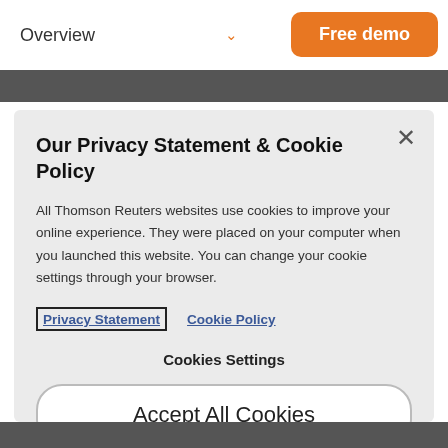Overview
Our Privacy Statement & Cookie Policy
All Thomson Reuters websites use cookies to improve your online experience. They were placed on your computer when you launched this website. You can change your cookie settings through your browser.
Privacy Statement   Cookie Policy
Cookies Settings
Accept All Cookies